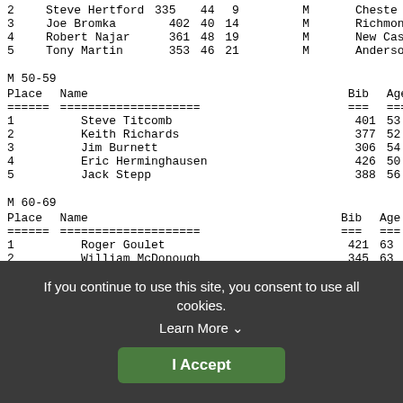| Place | Name | Bib | Age | Overall | Gender | Loc |
| --- | --- | --- | --- | --- | --- | --- |
| 2 | Steve Hertford | 335 | 44 | 9 | M | Cheste |
| 3 | Joe Bromka | 402 | 40 | 14 | M | Richmon |
| 4 | Robert Najar | 361 | 48 | 19 | M | New Cas |
| 5 | Tony Martin | 353 | 46 | 21 | M | Anderso |
M 50-59
| Place | Name | Bib | Age | Overall | Gender | Loc |
| --- | --- | --- | --- | --- | --- | --- |
| 1 | Steve Titcomb | 401 | 53 | 15 | M | Ric |
| 2 | Keith Richards | 377 | 52 | 26 | M | And |
| 3 | Jim Burnett | 306 | 54 | 30 | M | Can |
| 4 | Eric Herminghausen | 426 | 50 | 32 | M | Eas |
| 5 | Jack Stepp | 388 | 56 | 39 | M | And |
M 60-69
| Place | Name | Bib | Age | Overall | Gender | Loc |
| --- | --- | --- | --- | --- | --- | --- |
| 1 | Roger Goulet | 421 | 63 | 50 | M | St J |
| 2 | William McDonough | 345 | 63 | 64 | M | Port |
| 3 | Peter Mitchell | 374 | 64 | 68 | M | Jan |
If you continue to use this site, you consent to use all cookies.
Learn More ∨
I Accept